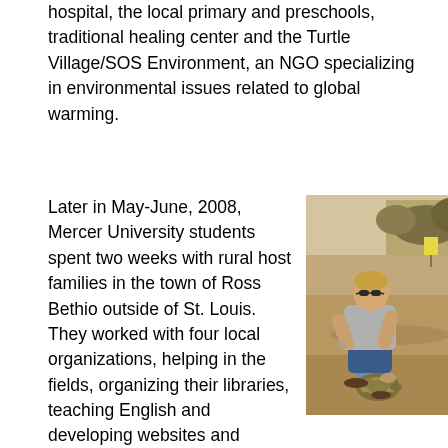hospital, the local primary and preschools, traditional healing center and the Turtle Village/SOS Environment, an NGO specializing in environmental issues related to global warming.
Later in May-June, 2008, Mercer University students spent two weeks with rural host families in the town of Ross Bethio outside of St. Louis. They worked with four local organizations, helping in the fields, organizing their libraries, teaching English and developing websites and brochures with the associaitons for better public relations.
[Figure (photo): A person crouching outdoors on dry dirt ground, wearing sunglasses and a grey t-shirt, interacting with what appears to be a tortoise. Background shows arid landscape with sparse vegetation and a yellow sign visible in the distance.]